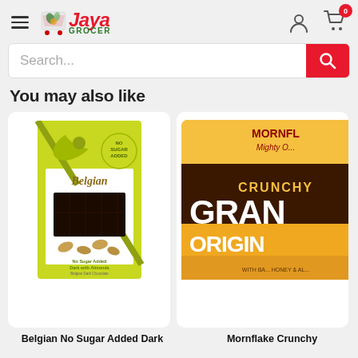[Figure (logo): Jaya Grocer logo with shopping cart icon, red italic Jaya text and green GROCER text]
[Figure (screenshot): Search bar with placeholder text 'Search...' and red search button]
You may also like
[Figure (photo): Belgian No Sugar Added Dark chocolate bar with almonds, green ribbon packaging]
Belgian No Sugar Added Dark
[Figure (photo): Mornflake Crunchy Granola Original cereal bag, partially visible]